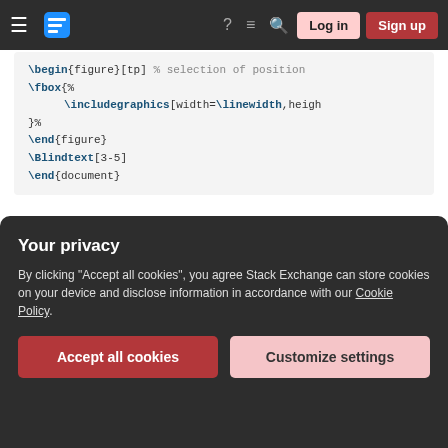Stack Exchange navigation bar with hamburger menu, logo, icons, Log in and Sign up buttons
[Figure (screenshot): Code block showing LaTeX snippet with \begin{figure}[tp], \fbox{%, \includegraphics[width=\linewidth,heigh, }%, \end{figure}, \Blindtext[3-5], \end{document}]
gives what you looking for:
[Figure (screenshot): Preview of a LaTeX document showing lorem ipsum text and a gray placeholder figure box]
Your privacy
By clicking "Accept all cookies", you agree Stack Exchange can store cookies on your device and disclose information in accordance with our Cookie Policy.
Accept all cookies
Customize settings